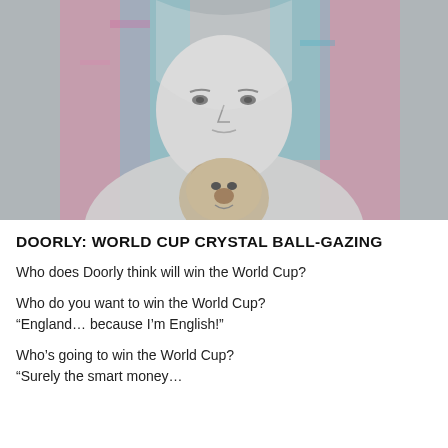[Figure (photo): Portrait photo of a young man wearing a grey t-shirt with a bear graphic print, with a pink and cyan coloured glitch/double-exposure effect overlay on the image background]
DOORLY: WORLD CUP CRYSTAL BALL-GAZING
Who does Doorly think will win the World Cup?
Who do you want to win the World Cup?
“England… because I’m English!”
Who’s going to win the World Cup?
“Surely the smart money…